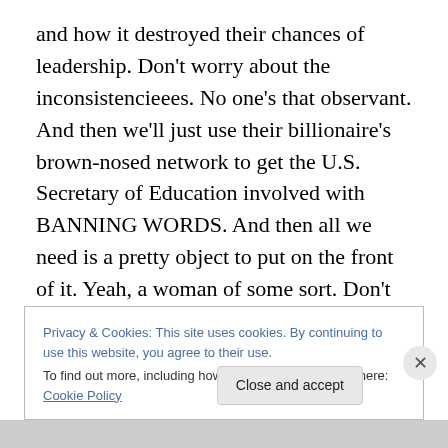and how it destroyed their chances of leadership. Don't worry about the inconsistencieees. No one's that observant. And then we'll just use their billionaire's brown-nosed network to get the U.S. Secretary of Education involved with BANNING WORDS. And then all we need is a pretty object to put on the front of it. Yeah, a woman of some sort. Don't worry, this is a feminist campaign. We only call it sexism and objectification when OTHER people use beautiful women to sell things. Ah! Perfection. What could possibly go wrong?'
Privacy & Cookies: This site uses cookies. By continuing to use this website, you agree to their use.
To find out more, including how to control cookies, see here: Cookie Policy